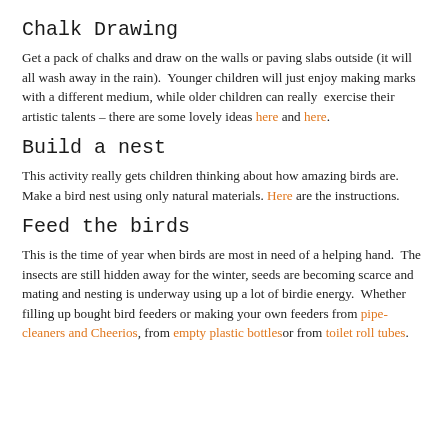Chalk Drawing
Get a pack of chalks and draw on the walls or paving slabs outside (it will all wash away in the rain).  Younger children will just enjoy making marks with a different medium, while older children can really  exercise their artistic talents – there are some lovely ideas here and here.
Build a nest
This activity really gets children thinking about how amazing birds are.  Make a bird nest using only natural materials. Here are the instructions.
Feed the birds
This is the time of year when birds are most in need of a helping hand.  The insects are still hidden away for the winter, seeds are becoming scarce and mating and nesting is underway using up a lot of birdie energy.  Whether filling up bought bird feeders or making your own feeders from pipe-cleaners and Cheerios, from empty plastic bottlesor from toilet roll tubes.